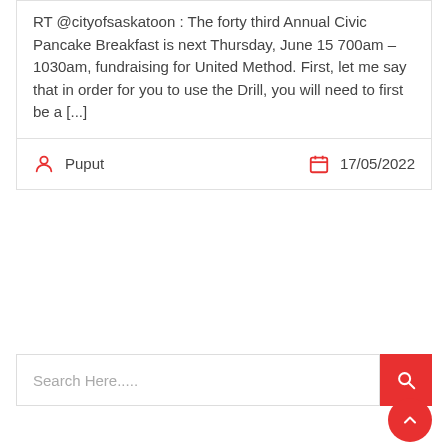RT @cityofsaskatoon : The forty third Annual Civic Pancake Breakfast is next Thursday, June 15 700am – 1030am, fundraising for United Method. First, let me say that in order for you to use the Drill, you will need to first be a [...]
Puput   17/05/2022
Search Here.....